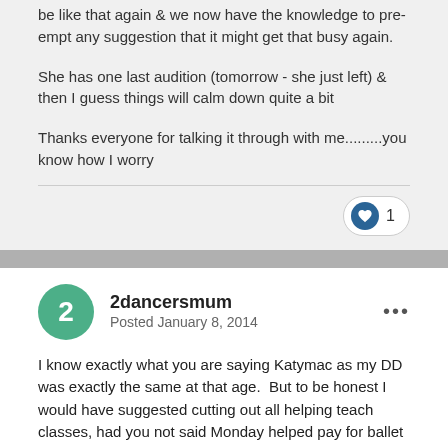be like that again & we now have the knowledge to pre-empt any suggestion that it might get that busy again.
She has one last audition (tomorrow - she just left) & then I guess things will calm down quite a bit
Thanks everyone for talking it through with me.........you know how I worry
1 like
2dancersmum
Posted January 8, 2014
I know exactly what you are saying Katymac as my DD was exactly the same at that age.  But to be honest I would have suggested cutting out all helping teach classes, had you not said Monday helped pay for ballet lessons - giving a few weeks notice to the teacher of those classes of course.  At this stage her own